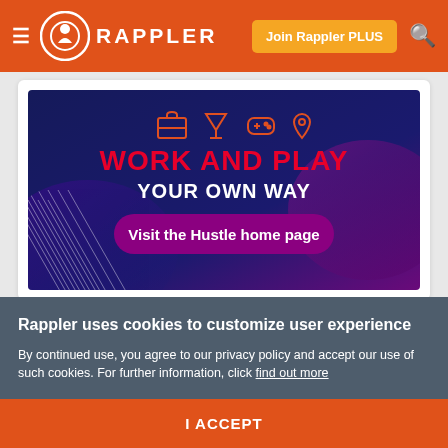Rappler — Join Rappler PLUS
[Figure (screenshot): Rappler Hustle section banner with dark navy/purple gradient background. Four icons at top: briefcase, cocktail glass, game controller, map pin. Bold red text 'WORK AND PLAY' and white text 'YOUR OWN WAY' below. Purple pill button with 'Visit the Hustle home page'.]
Rappler uses cookies to customize user experience
By continued use, you agree to our privacy policy and accept our use of such cookies. For further information, click find out more
I ACCEPT